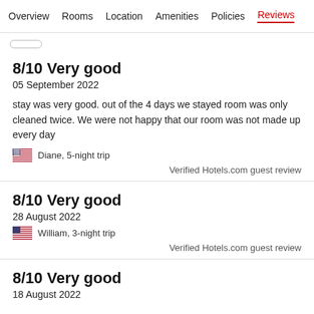Overview  Rooms  Location  Amenities  Policies  Reviews
8/10 Very good
05 September 2022
stay was very good. out of the 4 days we stayed room was only cleaned twice. We were not happy that our room was not made up every day
Diane, 5-night trip
Verified Hotels.com guest review
8/10 Very good
28 August 2022
William, 3-night trip
Verified Hotels.com guest review
8/10 Very good
18 August 2022